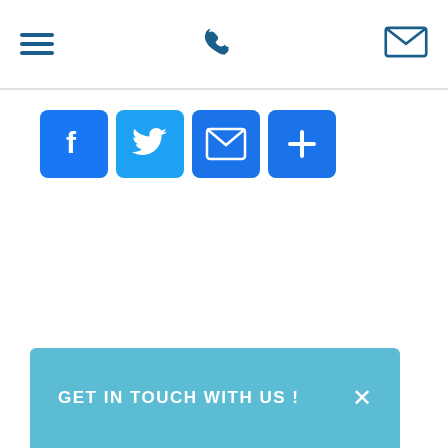[Figure (screenshot): Website navigation bar with hamburger menu icon on the left, phone icon in the center, and email/envelope icon on the right, all in dark blue on white background with bottom border]
[Figure (screenshot): Row of four blue social sharing buttons: Facebook (f), Twitter (bird), Email (envelope), and Plus/More (+)]
[Figure (screenshot): Light blue contact bar at the bottom reading 'GET IN TOUCH WITH US !' with an X close button on the right]